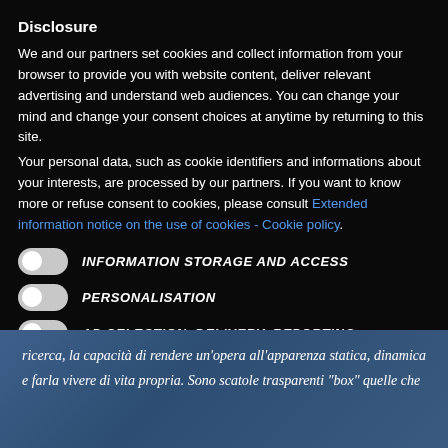Disclosure
We and our partners set cookies and collect information from your browser to provide you with website content, deliver relevant advertising and understand web audiences. You can change your mind and change your consent choices at anytime by returning to this site.
Your personal data, such as cookie identifiers and informations about your interests, are processed by our partners. If you want to know more or refuse consent to cookies, please consult Extended information notice on the use of cookies - Cookie policy.
INFORMATION STORAGE AND ACCESS
PERSONALISATION
AD SELECTION, DELIVERY, REPORTING
ricerca, la capacità di rendere un'opera all'apparenza statica, dinamica e farla vivere di vita propria. Sono scatole trasparenti "box" quelle che